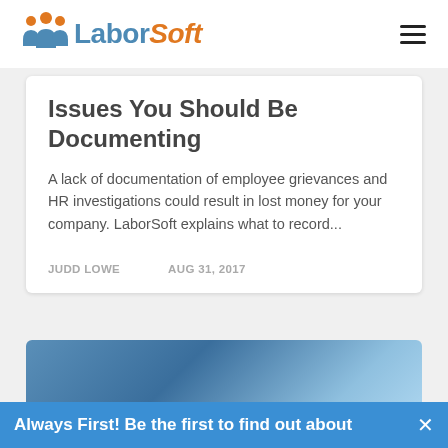LaborSoft
Issues You Should Be Documenting
A lack of documentation of employee grievances and HR investigations could result in lost money for your company. LaborSoft explains what to record...
JUDD LOWE   AUG 31, 2017
[Figure (photo): Partial view of a person in a blue suit, cropped at bottom of page]
Always First! Be the first to find out about